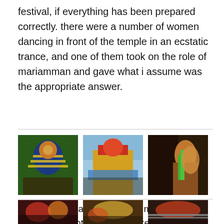festival, if everything has been prepared correctly. there were a number of women dancing in front of the temple in an ecstatic trance, and one of them took on the role of mariamman and gave what i assume was the appropriate answer.
[Figure (photo): Three photos: left - artist decorating a Mariamman statue with flowers; center - decorated float or stage with Mariamman idol on a street; right - workers performing pooja/blessing ceremony.]
an artist decorates one of the mariamman statues while other workers prepare the main stage; the initial blessings (pooja) before the dance ceremony.
[Figure (photo): Three photos of the dance ceremony crowds: left - women dancing in a crowd; center - crowd at the ceremony; right - people seated or standing at the ceremony.]